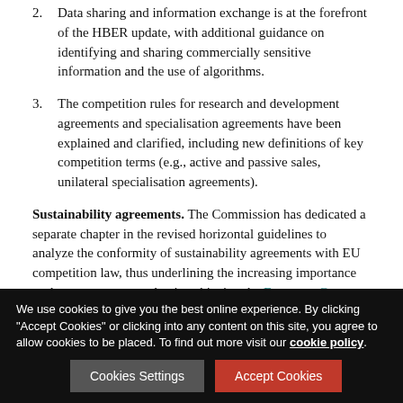2. Data sharing and information exchange is at the forefront of the HBER update, with additional guidance on identifying and sharing commercially sensitive information and the use of algorithms.
3. The competition rules for research and development agreements and specialisation agreements have been explained and clarified, including new definitions of key competition terms (e.g., active and passive sales, unilateral specialisation agreements).
Sustainability agreements. The Commission has dedicated a separate chapter in the revised horizontal guidelines to analyze the conformity of sustainability agreements with EU competition law, thus underlining the increasing importance such agreements can play in achieving the European Green Deal objectives. It is worth noting that the analysis of [text continues]
We use cookies to give you the best online experience. By clicking "Accept Cookies" or clicking into any content on this site, you agree to allow cookies to be placed. To find out more visit our cookie policy.